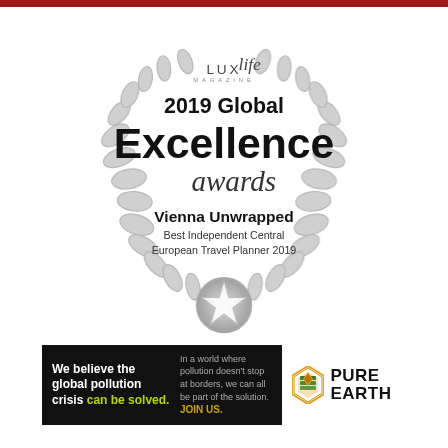[Figure (illustration): LUX Life Magazine 2019 Global Excellence Awards badge with laurel wreath, star medallion at bottom. Text: Vienna Unwrapped, Best Independent Central European Travel Planner 2019]
[Figure (illustration): Pure Earth advertisement banner with black background left panel showing 'We believe the global pollution crisis can be solved.' and Pure Earth logo on white right panel]